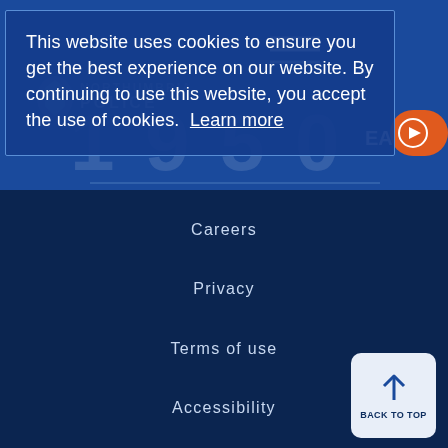[Figure (screenshot): Northumbria Police website header with logo, navigation menu icon, and orange play button, partially visible behind cookie consent overlay]
This website uses cookies to ensure you get the best experience on our website. By continuing to use this website, you accept the use of cookies. Learn more
Careers
Privacy
Terms of use
Accessibility